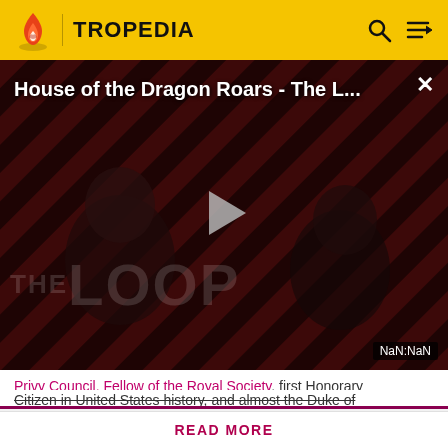TROPEDIA
[Figure (screenshot): Video thumbnail for 'House of the Dragon Roars - The L...' showing dark figures against a diagonal striped background with a play button in the center. Time display shows NaN:NaN.]
House of the Dragon Roars - The L...
Privy Council, Fellow of the Royal Society, first Honorary Citizen in United States history, and almost the Duke of
Before making a single edit, Tropedia EXPECTS our site policy and manual of style to be followed. Failure to do so may
READ MORE